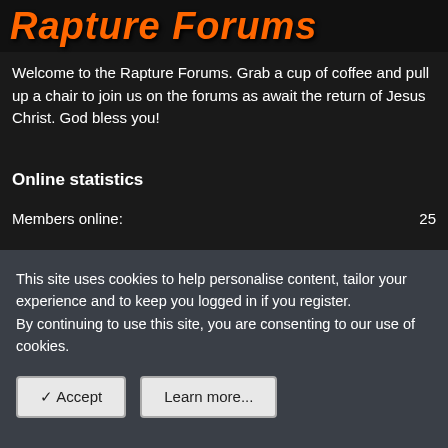Rapture Forums
Welcome to the Rapture Forums. Grab a cup of coffee and pull up a chair to join us on the forums as await the return of Jesus Christ. God bless you!
Online statistics
Members online: 25
Guests online: 60
Total visitors: 85
Totals may include hidden visitors.
This site uses cookies to help personalise content, tailor your experience and to keep you logged in if you register. By continuing to use this site, you are consenting to our use of cookies.